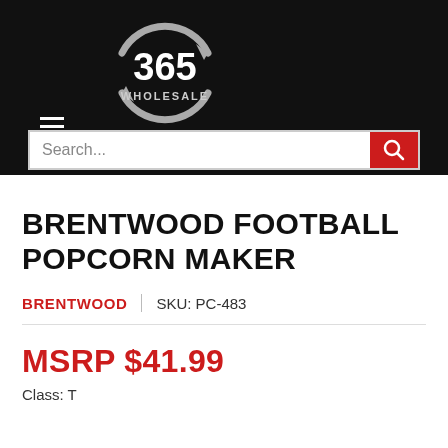[Figure (logo): 365 Wholesale logo: circular arrows with '365' text in white and 'WHOLESALE' below, on black background]
BRENTWOOD FOOTBALL POPCORN MAKER
BRENTWOOD | SKU: PC-483
MSRP $41.99
Class: T